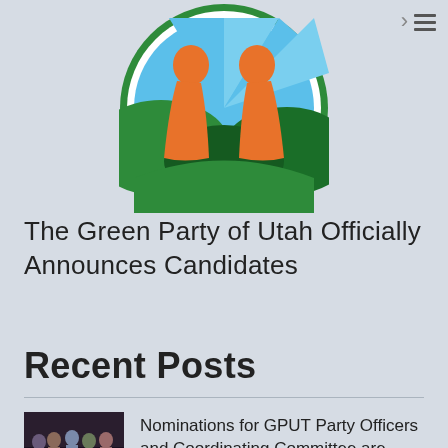[Figure (logo): Green Party of Utah circular logo with orange silhouettes of two people facing each other, green and blue landscape background, white circle border with green outer ring]
The Green Party of Utah Officially Announces Candidates
Recent Posts
[Figure (photo): Small thumbnail photo of a group of people posing together]
Nominations for GPUT Party Officers and Coordinating Committee are Open